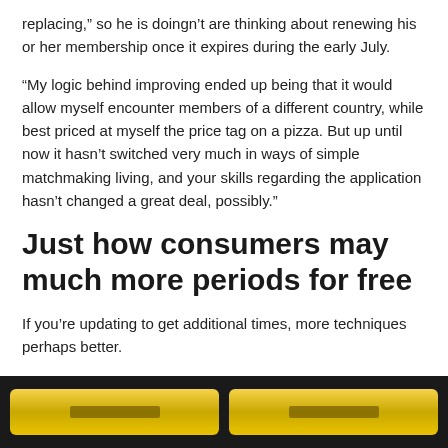replacing,” so he is doingn’t are thinking about renewing his or her membership once it expires during the early July.
“My logic behind improving ended up being that it would allow myself encounter members of a different country, while best priced at myself the price tag on a pizza. But up until now it hasn’t switched very much in ways of simple matchmaking living, and your skills regarding the application hasn’t changed a great deal, possibly.”
Just how consumers may much more periods for free
If you’re updating to get additional times, more techniques perhaps better.
[button] [button]